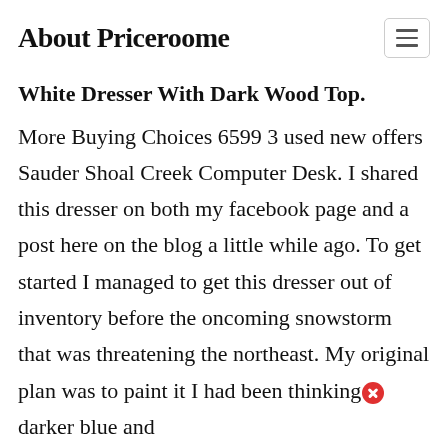About Priceroome
White Dresser With Dark Wood Top.
More Buying Choices 6599 3 used new offers Sauder Shoal Creek Computer Desk. I shared this dresser on both my facebook page and a post here on the blog a little while ago. To get started I managed to get this dresser out of inventory before the oncoming snowstorm that was threatening the northeast. My original plan was to paint it I had been thinking a darker blue and